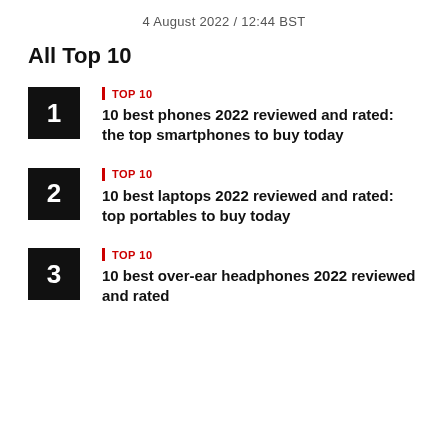4 August 2022 / 12:44 BST
All Top 10
TOP 10
10 best phones 2022 reviewed and rated: the top smartphones to buy today
TOP 10
10 best laptops 2022 reviewed and rated: top portables to buy today
TOP 10
10 best over-ear headphones 2022 reviewed and rated